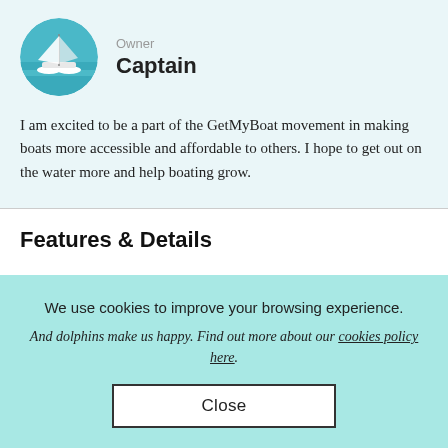[Figure (photo): Circular avatar photo of a catamaran sailboat on turquoise water, used as owner profile image]
Owner
Captain
I am excited to be a part of the GetMyBoat movement in making boats more accessible and affordable to others. I hope to get out on the water more and help boating grow.
Features & Details
We use cookies to improve your browsing experience.
And dolphins make us happy. Find out more about our cookies policy here.
Close